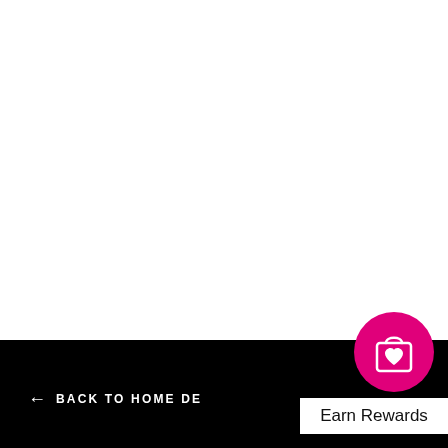← BACK TO HOME DE…
[Figure (illustration): Pink circular button with a shopping bag icon containing a heart symbol, labeled 'Earn Rewards']
Earn Rewards